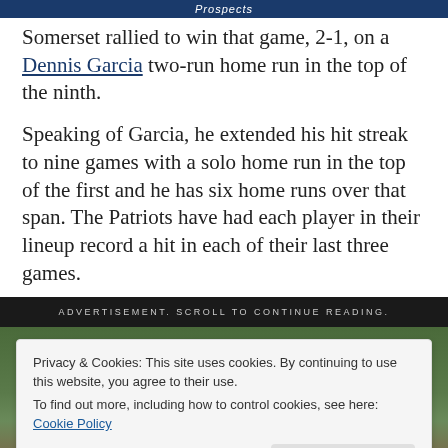Prospects
Somerset rallied to win that game, 2-1, on a Dennis Garcia two-run home run in the top of the ninth.
Speaking of Garcia, he extended his hit streak to nine games with a solo home run in the top of the first and he has six home runs over that span. The Patriots have had each player in their lineup record a hit in each of their last three games.
ADVERTISEMENT. SCROLL TO CONTINUE READING.
[Figure (photo): Partially visible sports photograph with cookie consent banner overlay]
Privacy & Cookies: This site uses cookies. By continuing to use this website, you agree to their use. To find out more, including how to control cookies, see here: Cookie Policy